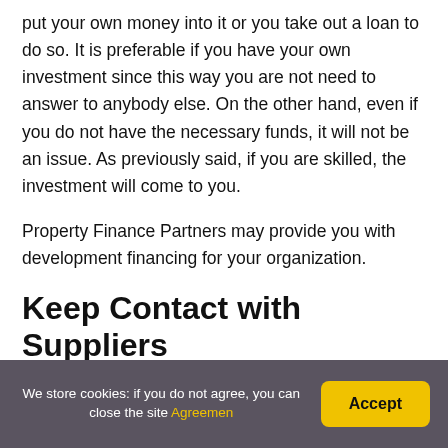put your own money into it or you take out a loan to do so. It is preferable if you have your own investment since this way you are not need to answer to anybody else. On the other hand, even if you do not have the necessary funds, it will not be an issue. As previously said, if you are skilled, the investment will come to you.
Property Finance Partners may provide you with development financing for your organization.
Keep Contact with Suppliers
We store cookies: if you do not agree, you can close the site Agreemen